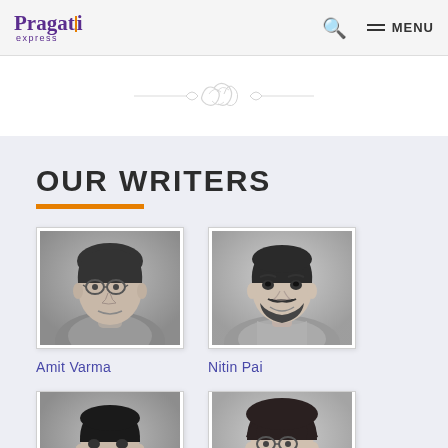Pragati express — MENU
[Figure (illustration): Decorative scroll/flourish divider graphic in gray]
OUR WRITERS
[Figure (photo): Black and white photo of Amit Varma, a man with glasses]
Amit Varma
[Figure (photo): Black and white photo of Nitin Pai, a bearded man smiling]
Nitin Pai
[Figure (photo): Black and white photo of third writer, partially visible at bottom]
[Figure (photo): Black and white photo of fourth writer, partially visible at bottom]